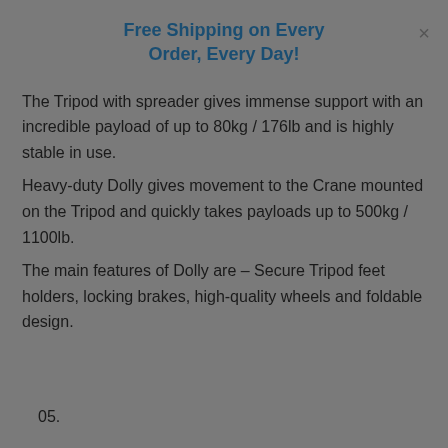Free Shipping on Every Order, Every Day!
The Tripod with spreader gives immense support with an incredible payload of up to 80kg / 176lb and is highly stable in use.
Heavy-duty Dolly gives movement to the Crane mounted on the Tripod and quickly takes payloads up to 500kg / 1100lb.
The main features of Dolly are – Secure Tripod feet holders, locking brakes, high-quality wheels and foldable design.
05.